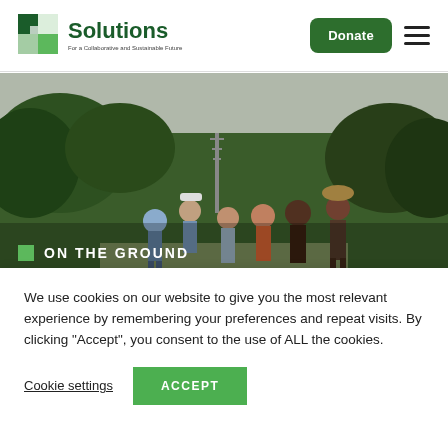[Figure (logo): Solutions logo with green square icon and text 'Solutions' with subtitle tagline]
[Figure (photo): Group of people walking along a path through lush green tropical vegetation with trees and a tower in the background under a hazy sky]
ON THE GROUND
We Are All Just Walking
We use cookies on our website to give you the most relevant experience by remembering your preferences and repeat visits. By clicking “Accept”, you consent to the use of ALL the cookies.
Cookie settings
ACCEPT